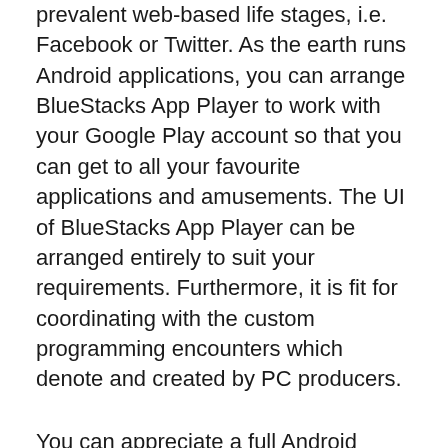prevalent web-based life stages, i.e. Facebook or Twitter. As the earth runs Android applications, you can arrange BlueStacks App Player to work with your Google Play account so that you can get to all your favourite applications and amusements. The UI of BlueStacks App Player can be arranged entirely to suit your requirements. Furthermore, it is fit for coordinating with the custom programming encounters which denote and created by PC producers.
You can appreciate a full Android condition through BlueStacks App Player, or on the off chance that you pick, you can introduce Android application symbols specifically onto the Windows work area.